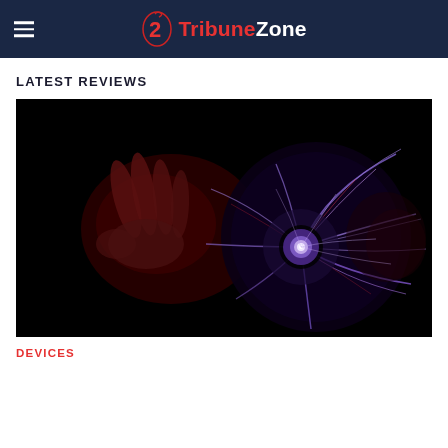TribuneZone
LATEST REVIEWS
[Figure (photo): A plasma ball / plasma globe photographed in the dark. A hand is visible touching the globe, with purple, blue, and red plasma tendrils radiating from the bright white center toward the glass surface.]
DEVICES